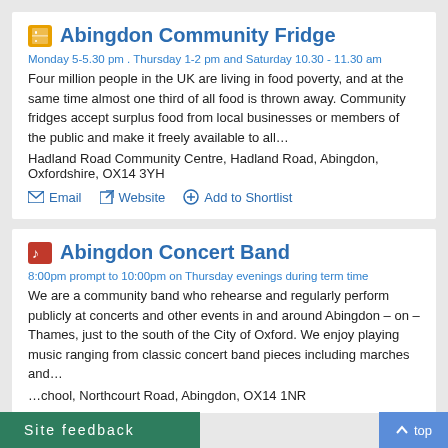Abingdon Community Fridge
Monday 5-5.30 pm . Thursday 1-2 pm and Saturday 10.30 - 11.30 am
Four million people in the UK are living in food poverty, and at the same time almost one third of all food is thrown away. Community fridges accept surplus food from local businesses or members of the public and make it freely available to all…
Hadland Road Community Centre, Hadland Road, Abingdon, Oxfordshire, OX14 3YH
Email
Website
Add to Shortlist
Abingdon Concert Band
8:00pm prompt to 10:00pm on Thursday evenings during term time
We are a community band who rehearse and regularly perform publicly at concerts and other events in and around Abingdon – on – Thames, just to the south of the City of Oxford. We enjoy playing music ranging from classic concert band pieces including marches and…
...school, Northcourt Road, Abingdon, OX14 1NR
Site feedback   top